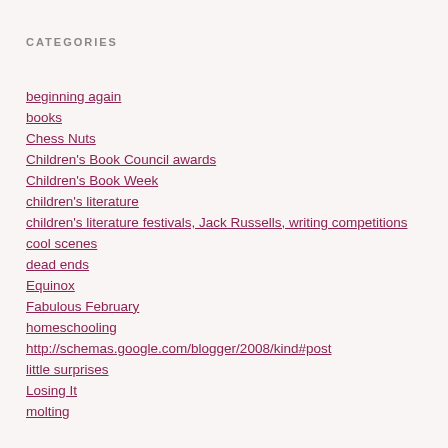CATEGORIES
beginning again
books
Chess Nuts
Children's Book Council awards
Children's Book Week
children's literature
children's literature festivals, Jack Russells, writing competitions
cool scenes
dead ends
Equinox
Fabulous February
homeschooling
http://schemas.google.com/blogger/2008/kind#post
little surprises
Losing It
molting